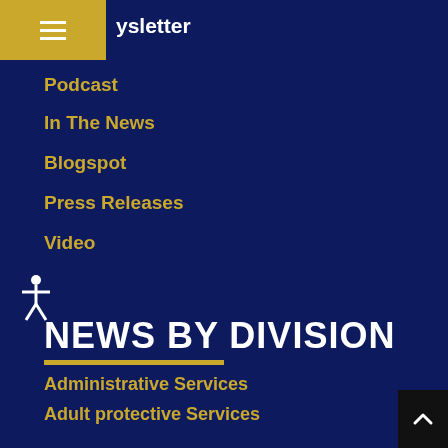Newsletter
Podcast
In The News
Blogspot
Press Releases
Video
NEWS BY DIVISION
Administrative Services
Adult protective Services
CalFresh
Children's Services